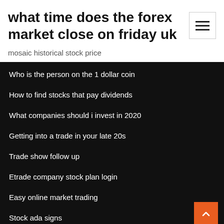what time does the forex market close on friday uk
mosaic historical stock price
Who is the person on the 1 dollar coin
How to find stocks that pay dividends
What companies should i invest in 2020
Getting into a trade in your late 20s
Trade show follow up
Etrade company stock plan login
Easy online market trading
Stock ada signs